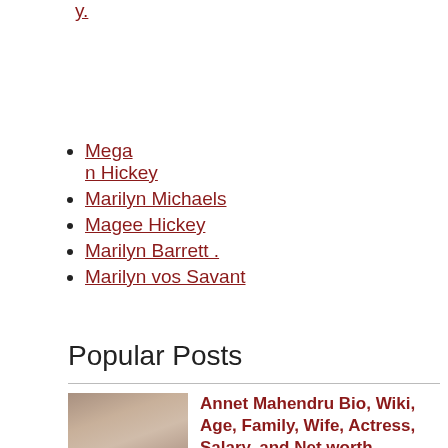y.
Megan Hickey
Marilyn Michaels
Magee Hickey
Marilyn Barrett .
Marilyn vos Savant
Popular Posts
[Figure (photo): Portrait photo of a woman with dark hair]
Annet Mahendru Bio, Wiki, Age, Family, Wife, Actress, Salary, and Net worth